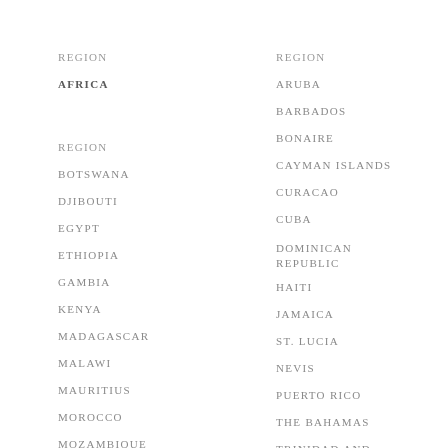REGION
AFRICA
REGION
BOTSWANA
DJIBOUTI
EGYPT
ETHIOPIA
GAMBIA
KENYA
MADAGASCAR
MALAWI
MAURITIUS
MOROCCO
MOZAMBIQUE
REGION
ARUBA
BARBADOS
BONAIRE
CAYMAN ISLANDS
CURACAO
CUBA
DOMINICAN REPUBLIC
HAITI
JAMAICA
ST. LUCIA
NEVIS
PUERTO RICO
THE BAHAMAS
TRINIDAD AND